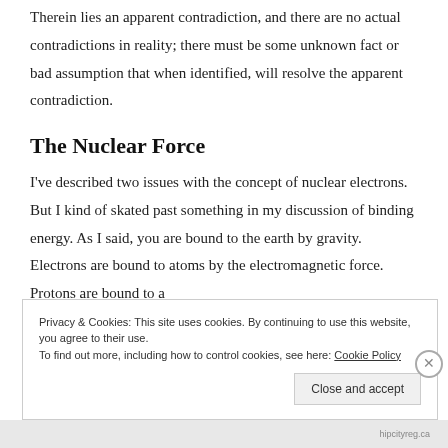Therein lies an apparent contradiction, and there are no actual contradictions in reality; there must be some unknown fact or bad assumption that when identified, will resolve the apparent contradiction.
The Nuclear Force
I've described two issues with the concept of nuclear electrons. But I kind of skated past something in my discussion of binding energy. As I said, you are bound to the earth by gravity. Electrons are bound to atoms by the electromagnetic force. Protons are bound to a
Privacy & Cookies: This site uses cookies. By continuing to use this website, you agree to their use.
To find out more, including how to control cookies, see here: Cookie Policy
Close and accept